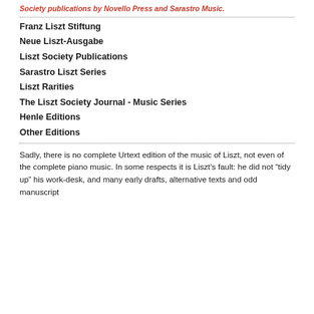Society publications by Novello Press and Sarastro Music.
Franz Liszt Stiftung
Neue Liszt-Ausgabe
Liszt Society Publications
Sarastro Liszt Series
Liszt Rarities
The Liszt Society Journal - Music Series
Henle Editions
Other Editions
Sadly, there is no complete Urtext edition of the music of Liszt, not even of the complete piano music. In some respects it is Liszt’s fault: he did not “tidy up” his work-desk, and many early drafts, alternative texts and odd manuscript